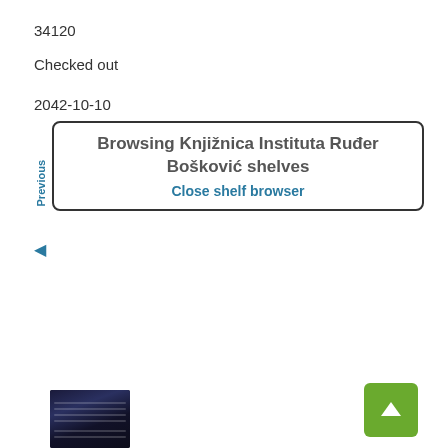34120
Checked out
2042-10-10
Browsing Knjižnica Instituta Ruđer Bošković shelves
Close shelf browser
Previous
[Figure (screenshot): Book cover thumbnail at bottom left, dark blue/navy cover]
[Figure (other): Green scroll-to-top button with upward arrow icon]